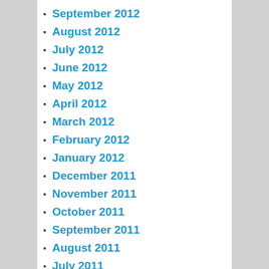September 2012
August 2012
July 2012
June 2012
May 2012
April 2012
March 2012
February 2012
January 2012
December 2011
November 2011
October 2011
September 2011
August 2011
July 2011
June 2011
May 2011
April 2011
March 2011
February 2011
January 2011